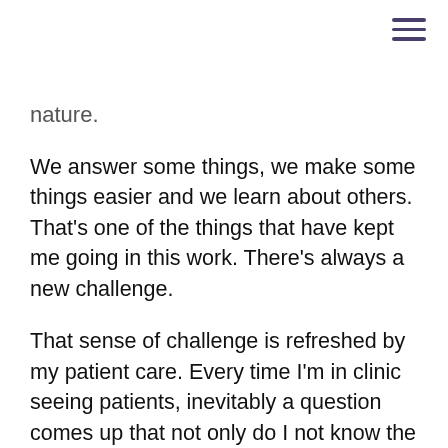[Figure (other): Hamburger menu icon (three horizontal lines) in dark purple, top-right corner]
nature.
We answer some things, we make some things easier and we learn about others. That's one of the things that have kept me going in this work. There's always a new challenge.
That sense of challenge is refreshed by my patient care. Every time I'm in clinic seeing patients, inevitably a question comes up that not only do I not know the answer to but no one knows the answer to it, and that just goes into our bank of things that we'd love to study.
Helen Osborne: I'm being candid here a little bit. I'm a clinician myself. I'm no longer in practice, but I talk to people